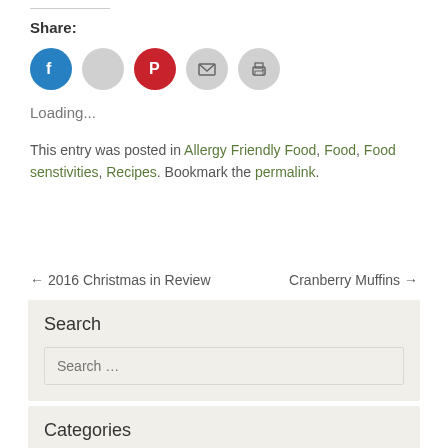Share:
[Figure (infographic): Social share icons: Facebook (blue circle), Twitter/unknown (grey circle), Pinterest (red circle), Email (grey circle), Print (grey circle)]
Loading...
This entry was posted in Allergy Friendly Food, Food, Food senstivities, Recipes. Bookmark the permalink.
← 2016 Christmas in Review    Cranberry Muffins →
Search
Search ...
Categories